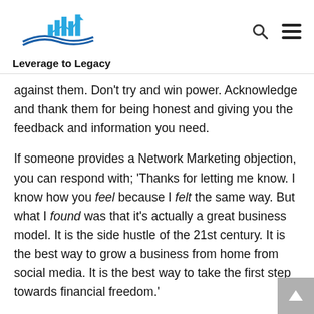Leverage to Legacy
against them. Don't try and win power. Acknowledge and thank them for being honest and giving you the feedback and information you need.
If someone provides a Network Marketing objection, you can respond with; 'Thanks for letting me know. I know how you feel because I felt the same way. But what I found was that it's actually a great business model. It is the side hustle of the 21st century. It is the best way to grow a business from home from social media. It is the best way to take the first step towards financial freedom.'